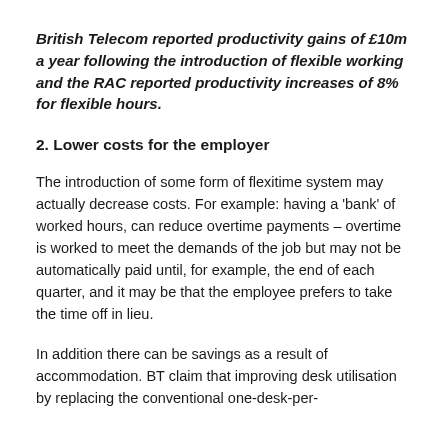British Telecom reported productivity gains of £10m a year following the introduction of flexible working and the RAC reported productivity increases of 8% for flexible hours.
2. Lower costs for the employer
The introduction of some form of flexitime system may actually decrease costs. For example: having a 'bank' of worked hours, can reduce overtime payments – overtime is worked to meet the demands of the job but may not be automatically paid until, for example, the end of each quarter, and it may be that the employee prefers to take the time off in lieu.
In addition there can be savings as a result of accommodation. BT claim that improving desk utilisation by replacing the conventional one-desk-per-